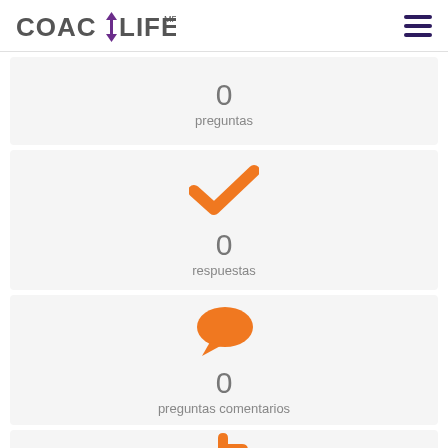COACHLIFE
0
preguntas
[Figure (illustration): Orange checkmark icon above '0 respuestas' stat card]
0
respuestas
[Figure (illustration): Orange speech bubble icon above '0 preguntas comentarios' stat card]
0
preguntas comentarios
[Figure (illustration): Orange thumbs up icon (partially visible) above a stat card]
0